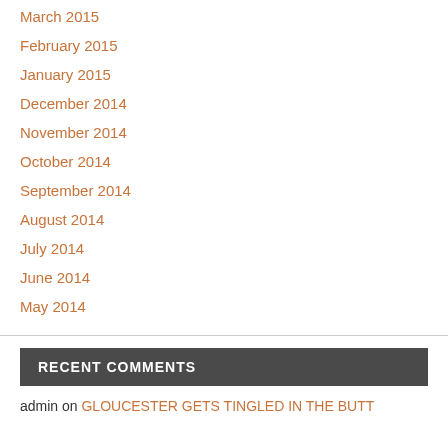March 2015
February 2015
January 2015
December 2014
November 2014
October 2014
September 2014
August 2014
July 2014
June 2014
May 2014
RECENT COMMENTS
admin on GLOUCESTER GETS TINGLED IN THE BUTT